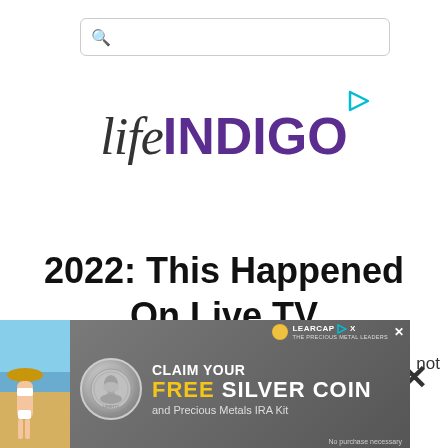[Figure (other): Search bar with magnifying glass icon]
[Figure (logo): lifeINDIGO logo with play button icon — 'life' in italic serif dark text, 'INDIGO' in bold purple sans-serif, small cyan play triangle top right]
2022: This Happened On Live TV
[Figure (other): Close/X button in dark color]
[Figure (other): Advertisement banner: LearCap gold coin logo top right with X close button. Left side shows beach photo with woman in bikini. Center shows silver Kennedy half dollar coin image. Text reads: CLAIM YOUR FREE SILVER COIN and Precious Metals IRA Kit. Bottom right: No purchase necessary.]